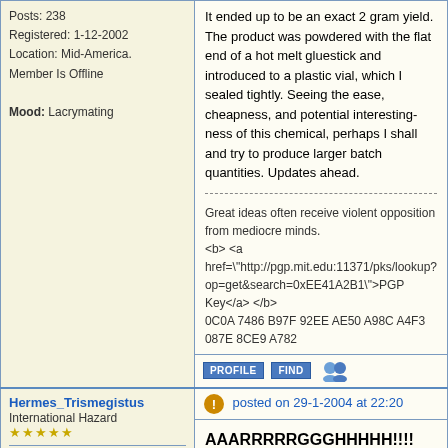Posts: 238
Registered: 1-12-2002
Location: Mid-America.
Member Is Offline

Mood: Lacrymating
It ended up to be an exact 2 gram yield. The product was powdered with the flat end of a hot melt gluestick and introduced to a plastic vial, which I sealed tightly. Seeing the ease, cheapness, and potential interesting-ness of this chemical, perhaps I shall and try to produce larger batch quantities. Updates ahead.
Great ideas often receive violent opposition from mediocre minds.
<b> <a href="http://pgp.mit.edu:11371/pks/lookup?op=get&search=0xEE41A2B1">PGP Key</a> </b>
0C0A 7486 B97F 92EE AE50 A98C A4F3 087E 8CE9 A782
Hermes_Trismegistus
International Hazard
★★★★★
posted on 29-1-2004 at 22:20
AAARRRRRGGGHHHHH!!!!
After attempting this synth I suddenly am simultaneously frustrated and enlightened.

The other chlorobutanol thread shows a common occurence. Getting a discoloured and perniciously uncrystalisable substance yellow substance and
Posts: 602
Registered: 27-11-2003
Location: Greece, Ancient
Member Is Offline

Mood: conformation:ga